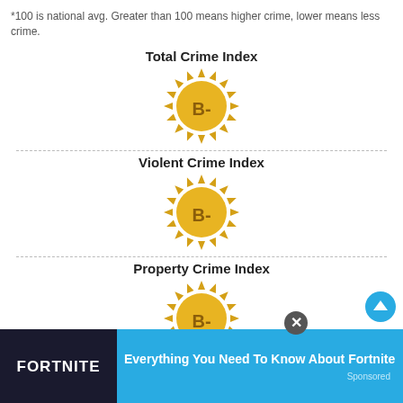*100 is national avg. Greater than 100 means higher crime, lower means less crime.
Total Crime Index
[Figure (illustration): Gold sun-burst badge with letter grade B- in the center]
Violent Crime Index
[Figure (illustration): Gold sun-burst badge with letter grade B- in the center]
Property Crime Index
[Figure (illustration): Gold sun-burst badge with letter grade B- in the center]
Everything You Need To Know About Fortnite
Sponsored